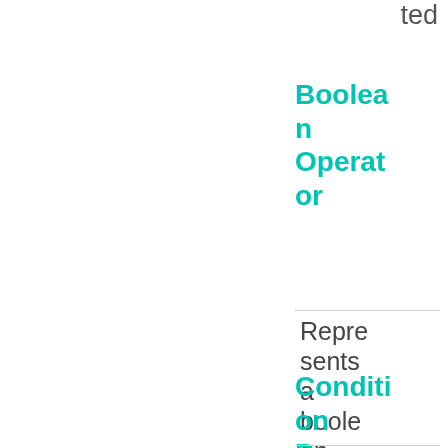ted
Boolean Operator
Represents a boolean operator
Condition ParameterSide